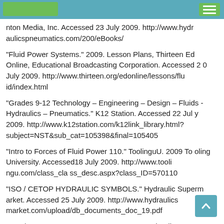nton Media, Inc. Accessed 23 July 2009. http://www.hydraulicspneumatics.com/200/eBooks/
"Fluid Power Systems." 2009. Lesson Plans, Thirteen Ed Online, Educational Broadcasting Corporation. Accessed 20 July 2009. http://www.thirteen.org/edonline/lessons/fluid/index.html
"Grades 9-12 Technology – Engineering – Design – Fluids - Hydraulics – Pneumatics." K12 Station. Accessed 22 July 2009. http://www.k12station.com/k12link_library.html?subject=NST&sub_cat=105398&final=105405
"Intro to Forces of Fluid Power 110." ToolinguU. 2009 Tooling University. Accessed18 July 2009. http://www.toolingu.com/class_cla ss_desc.aspx?class_ID=570110
"ISO / CETOP HYDRAULIC SYMBOLS." Hydraulic Supermarket. Accessed 25 July 2009. http://www.hydraulicsupermarket.com/upload/db_documents_doc_19.pdf
"h i d l i i l t d" A d 22 J l 2009